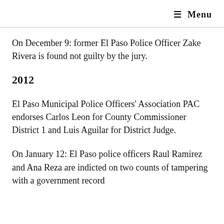≡ Menu
On December 9: former El Paso Police Officer Zake Rivera is found not guilty by the jury.
2012
El Paso Municipal Police Officers' Association PAC endorses Carlos Leon for County Commissioner District 1 and Luis Aguilar for District Judge.
On January 12: El Paso police officers Raul Ramirez and Ana Reza are indicted on two counts of tampering with a government record